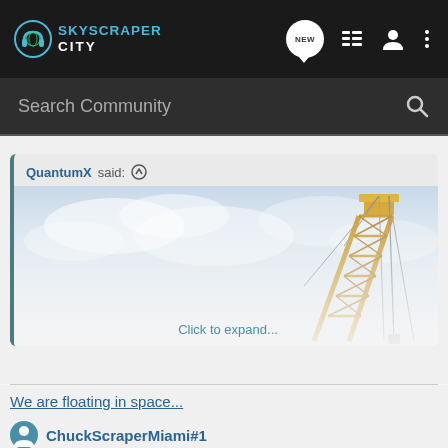SKYSCRAPER CITY
Search Community
QuantumX said: ↑
[Figure (photo): Construction crane against a blue cloudy sky, with a 'Click to expand...' overlay at the bottom]
Click to expand...
We are floating in space...
ChuckScraperMiami#1